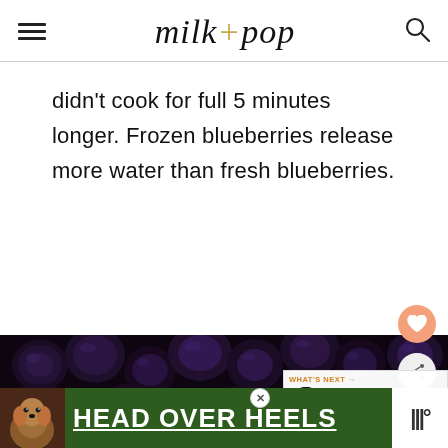milk+pop
didn't cook for full 5 minutes longer. Frozen blueberries release more water than fresh blueberries.
[Figure (photo): Close-up photograph of dark blueberries, appearing wet and glossy]
[Figure (infographic): What's Next panel showing Blackberry Jam without... with a small circular thumbnail]
[Figure (infographic): Advertisement banner: HEAD OVER HEELS with a dog image on green background]